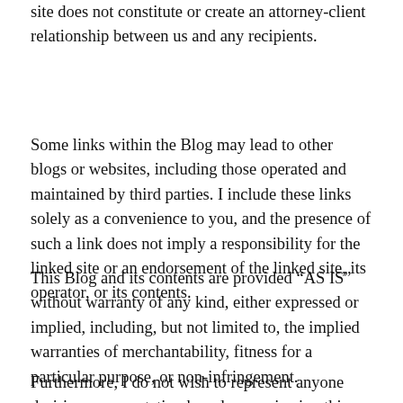communication with us via Internet e-mail through this site does not constitute or create an attorney-client relationship between us and any recipients.
Some links within the Blog may lead to other blogs or websites, including those operated and maintained by third parties. I include these links solely as a convenience to you, and the presence of such a link does not imply a responsibility for the linked site or an endorsement of the linked site, its operator, or its contents.
This Blog and its contents are provided “AS IS” without warranty of any kind, either expressed or implied, including, but not limited to, the implied warranties of merchantability, fitness for a particular purpose, or non-infringement.
Furthermore, I do not wish to represent anyone desiring representation based upon viewing this Blog in a state